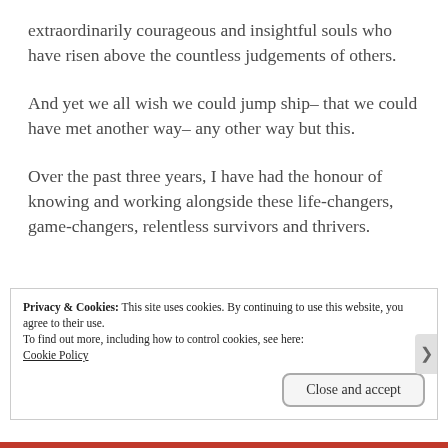extraordinarily courageous and insightful souls who have risen above the countless judgements of others.
And yet we all wish we could jump ship– that we could have met another way– any other way but this.
Over the past three years, I have had the honour of knowing and working alongside these life-changers, game-changers, relentless survivors and thrivers.
Privacy & Cookies: This site uses cookies. By continuing to use this website, you agree to their use.
To find out more, including how to control cookies, see here:
Cookie Policy
Close and accept